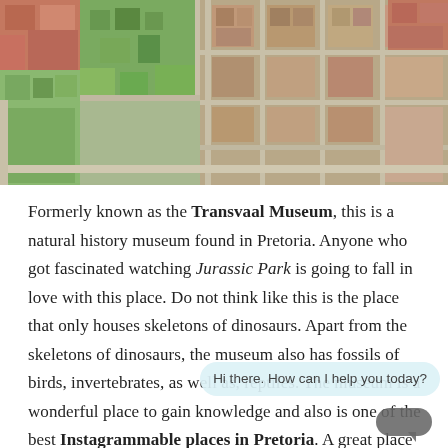[Figure (photo): Aerial view of Pretoria city center showing buildings, streets, trees and rooftops from above]
Formerly known as the Transvaal Museum, this is a natural history museum found in Pretoria. Anyone who got fascinated watching Jurassic Park is going to fall in love with this place. Do not think like this is the place that only houses skeletons of dinosaurs. Apart from the skeletons of dinosaurs, the museum also has fossils of birds, invertebrates, as well as, reptiles. The museum is a wonderful place to gain knowledge and also is one of the best Instagrammable places in Pretoria. A great place for capturing the best Instagram photos with friends and family.